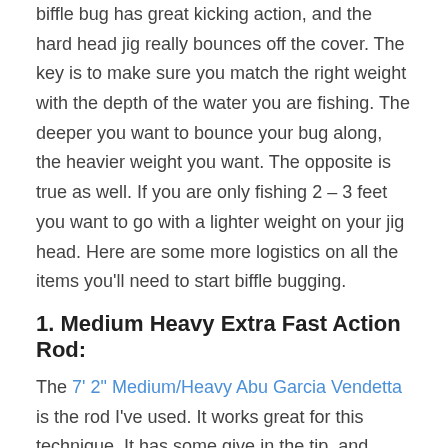biffle bug has great kicking action, and the hard head jig really bounces off the cover. The key is to make sure you match the right weight with the depth of the water you are fishing. The deeper you want to bounce your bug along, the heavier weight you want. The opposite is true as well. If you are only fishing 2 – 3 feet you want to go with a lighter weight on your jig head. Here are some more logistics on all the items you'll need to start biffle bugging.
1. Medium Heavy Extra Fast Action Rod:
The 7' 2" Medium/Heavy Abu Garcia Vendetta is the rod I've used. It works great for this technique. It has some give in the tip, and some back bone so you can get those big bass in you catch biffle bugging.
2. Dependable Bait Casting Reel:
There are a lot of good bait casting reels on the market. This